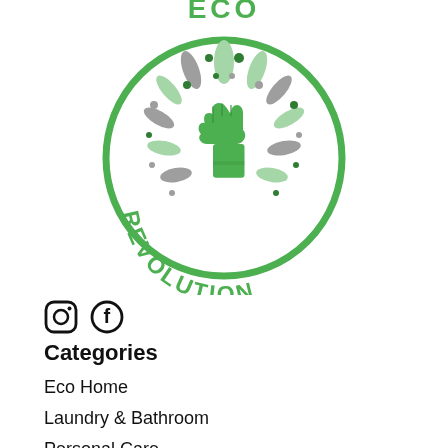[Figure (logo): Eco Revolution logo: green circle with a raised green fist surrounded by leaves and dots, with 'REVOLUTION' text along the bottom arc of the circle and 'ECO' text at the top in green.]
[Figure (illustration): Social media icons: Instagram and Facebook icons in black.]
Categories
Eco Home
Laundry & Bathroom
Personal Care
Hair Care
On the go
Baby & Kids